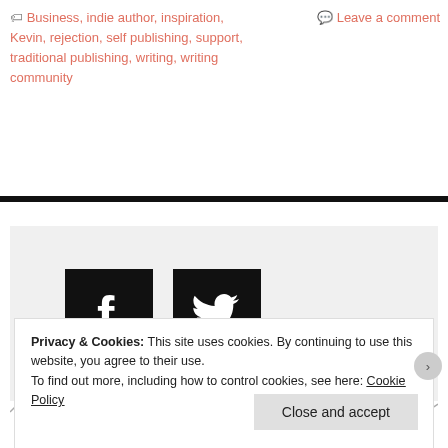🏷 Business, indie author, inspiration, Kevin, rejection, self publishing, support, traditional publishing, writing, writing community
💬 Leave a comment
[Figure (infographic): Social share buttons: Facebook (black square with white f) and Twitter (black square with white bird icon)]
Privacy & Cookies: This site uses cookies. By continuing to use this website, you agree to their use.
To find out more, including how to control cookies, see here: Cookie Policy
Close and accept